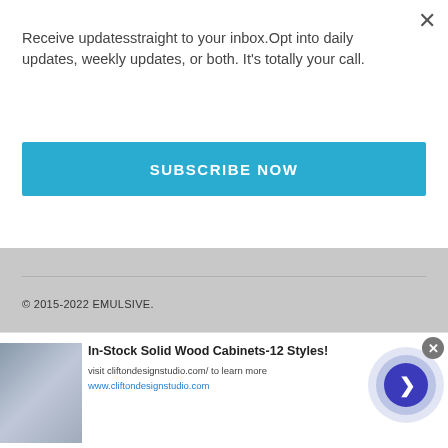Receive updatesstraight to your inbox.Opt into daily updates, weekly updates, or both. It's totally your call.
SUBSCRIBE NOW
© 2015-2022 EMULSIVE.
In-Stock Solid Wood Cabinets-12 Styles!
visit cliftondesignstudio.com/ to learn more
www.cliftondesignstudio.com